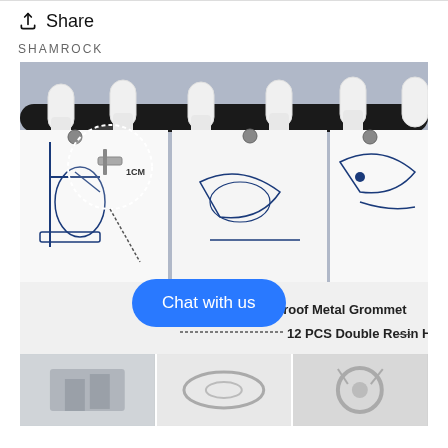Share
SHAMROCK
[Figure (photo): White resin shower curtain hooks on a black curtain rod, with a blue nautical print curtain. A dotted circle callout shows a metal grommet with '1CM' measurement label.]
Rust-proof Metal Grommet
12 PCS Double Resin Hooks
[Figure (photo): Three small thumbnail photos at bottom showing shower curtain hardware details.]